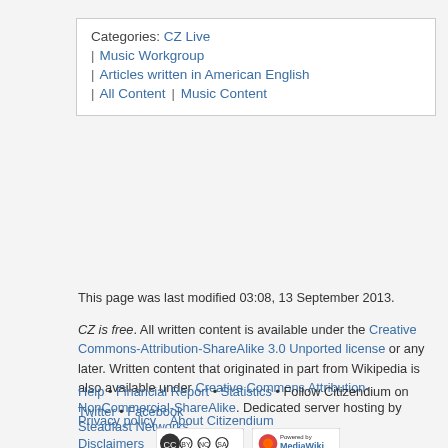Categories:  CZ Live | Music Workgroup | Articles written in American English | All Content | Music Content
This page was last modified 03:08, 13 September 2013.
CZ is free. All written content is available under the Creative Commons-Attribution-ShareAlike 3.0 Unported license or any later. Written content that originated in part from Wikipedia is also available under Creative Commons Attribution-NonCommercial-ShareAlike. Dedicated server hosting by Steadfast Networks
Help • Financial Report • Statistics • Follow Citizendium on Twitter • Facebook
Privacy policy   About Citizendium
Disclaimers